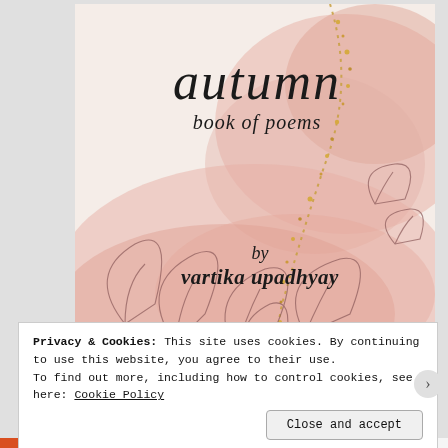[Figure (illustration): Book cover for 'autumn book of poems' by vartika upadhyay. Watercolor pink and blush tones with botanical leaf line drawings, golden glitter diagonal accent, and dark handwritten-style text.]
Privacy & Cookies: This site uses cookies. By continuing to use this website, you agree to their use.
To find out more, including how to control cookies, see here: Cookie Policy
Close and accept